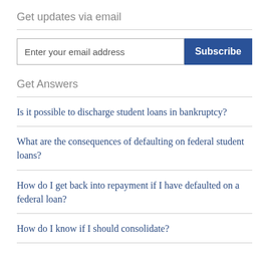Get updates via email
Enter your email address | Subscribe
Get Answers
Is it possible to discharge student loans in bankruptcy?
What are the consequences of defaulting on federal student loans?
How do I get back into repayment if I have defaulted on a federal loan?
How do I know if I should consolidate?